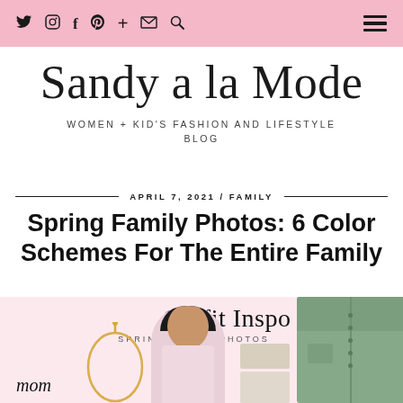Sandy a la Mode – navigation bar with social icons and menu
Sandy a la Mode
WOMEN + KID'S FASHION AND LIFESTYLE BLOG
APRIL 7, 2021 / FAMILY
Spring Family Photos: 6 Color Schemes For The Entire Family
[Figure (illustration): Outfit inspo collage for spring family photos showing a woman in a white top, a gold necklace, a sage green button-down shirt, and accessories. Text reads 'Outfit Inspo / SPRING FAMILY PHOTOS' with 'mom' label.]